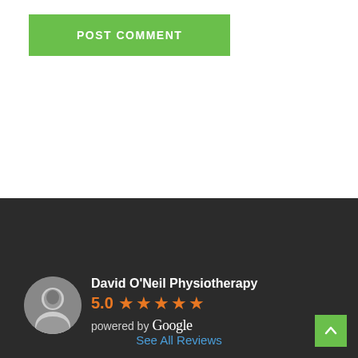[Figure (screenshot): Green POST COMMENT button]
[Figure (infographic): Google review widget on dark background showing David O'Neil Physiotherapy with 5.0 star rating powered by Google]
David O'Neil Physiotherapy
5.0 ★★★★★
powered by Google
See All Reviews